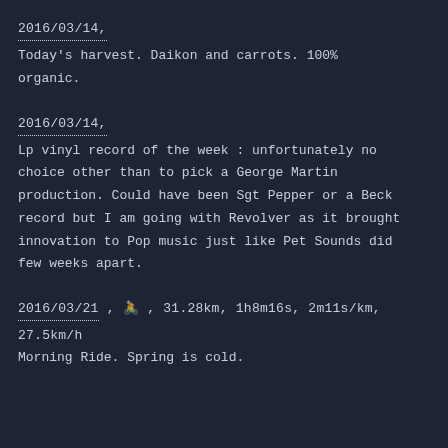2016/03/14,
Today's harvest. Daikon and carrots. 100% organic.
2016/03/14,
Lp vinyl record of the week : unfortunately no choice other than to pick a George Martin production. Could have been Sgt Pepper or a Beck record but I am going with Revolver as it brought innovation to Pop music just like Pet Sounds did few weeks apart.
2016/03/21 , 🚴 , 31.28km, 1h8m16s, 2m11s/km, 27.5km/h
Morning Ride. Spring is cold.